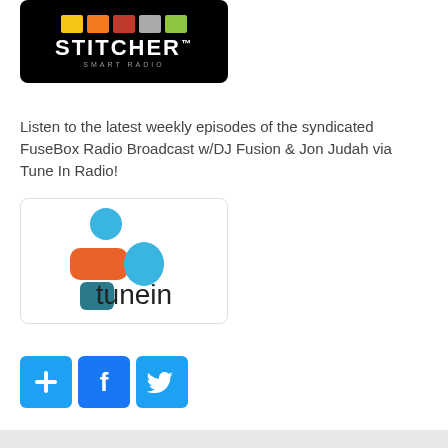[Figure (logo): Stitcher Smart Radio logo on black background with colored bars]
Listen to the latest weekly episodes of the syndicated FuseBox Radio Broadcast w/DJ Fusion & Jon Judah via Tune In Radio!
[Figure (logo): TuneIn logo with colorful person icon and tunein wordmark]
[Figure (other): Three social media share buttons: Add/Plus, Facebook, Twitter]